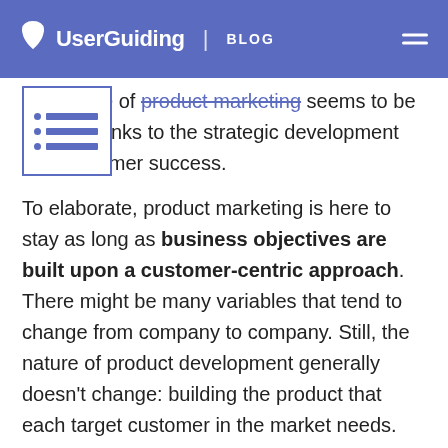UserGuiding | BLOG
The future of product marketing seems to be bright, thanks to the strategic development and customer success.
To elaborate, product marketing is here to stay as long as business objectives are built upon a customer-centric approach. There might be many variables that tend to change from company to company. Still, the nature of product development generally doesn't change: building the product that each target customer in the market needs.
So, supporting customer-based business development within cross-functional teams